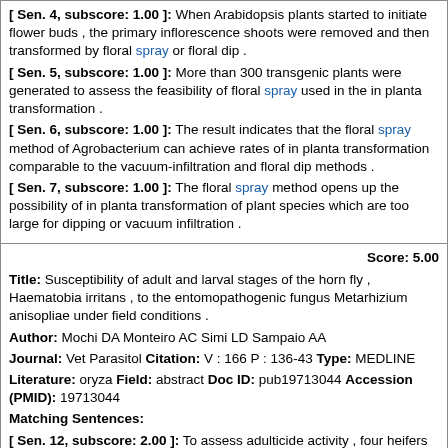[ Sen. 4, subscore: 1.00 ]: When Arabidopsis plants started to initiate flower buds , the primary inflorescence shoots were removed and then transformed by floral spray or floral dip .
[ Sen. 5, subscore: 1.00 ]: More than 300 transgenic plants were generated to assess the feasibility of floral spray used in the in planta transformation .
[ Sen. 6, subscore: 1.00 ]: The result indicates that the floral spray method of Agrobacterium can achieve rates of in planta transformation comparable to the vacuum-infiltration and floral dip methods .
[ Sen. 7, subscore: 1.00 ]: The floral spray method opens up the possibility of in planta transformation of plant species which are too large for dipping or vacuum infiltration .
Score: 5.00
Title: Susceptibility of adult and larval stages of the horn fly , Haematobia irritans , to the entomopathogenic fungus Metarhizium anisopliae under field conditions .
Author: Mochi DA Monteiro AC Simi LD Sampaio AA
Journal: Vet Parasitol Citation: V : 166 P : 136-43 Type: MEDLINE
Literature: oryza Field: abstract Doc ID: pub19713044 Accession (PMID): 19713044
Matching Sentences:
[ Sen. 12, subscore: 2.00 ]: To assess adulticide activity , four heifers were sprayed with a suspension of 3 x 10 ( 10 ) conidial ( -1 ) of M anisopliae , and four control animals were sprayed with the same solution without conidial content .
[ Sen. 13, subscore: 1.00 ]: Four sprayings were done at five-day intervals , and all animals were photographed daily to observe the